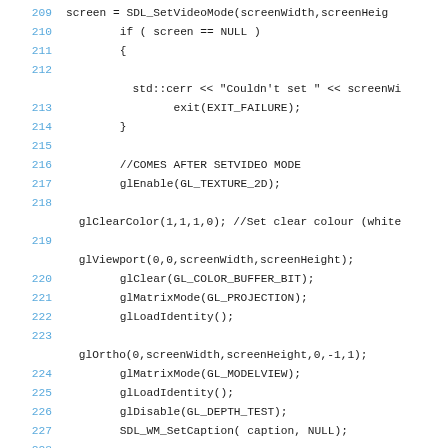Code listing lines 209-228 showing SDL/OpenGL initialization code
209: (blank - continuation of screen = SDL_SetVideoMode(screenWidth,screenHeig
210:     if ( screen == NULL )
211:     {
212: (blank)
std::cerr << "Couldn't set " << screenWi
213:         exit(EXIT_FAILURE);
214:     }
215: (blank)
216:     //COMES AFTER SETVIDEO MODE
217:     glEnable(GL_TEXTURE_2D);
218: (blank)
glClearColor(1,1,1,0); //Set clear colour (white
219: (blank)
glViewport(0,0,screenWidth,screenHeight);
220:     glClear(GL_COLOR_BUFFER_BIT);
221:     glMatrixMode(GL_PROJECTION);
222:     glLoadIdentity();
223: (blank)
glOrtho(0,screenWidth,screenHeight,0,-1,1);
224:     glMatrixMode(GL_MODELVIEW);
225:     glLoadIdentity();
226:     glDisable(GL_DEPTH_TEST);
227:     SDL_WM_SetCaption( caption, NULL);
228: (blank)